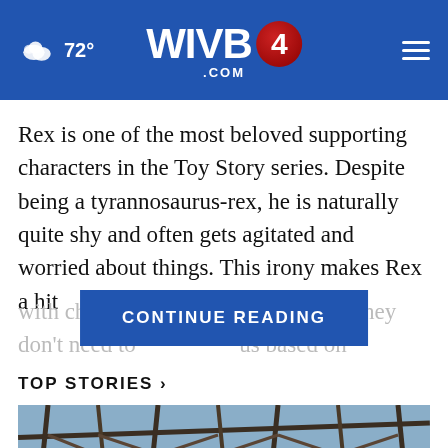72° WIVB4.COM
Rex is one of the most beloved supporting characters in the Toy Story series. Despite being a tyrannosaurus-rex, he is naturally quite shy and often gets agitated and worried about things. This irony makes Rex a hit with children, a know they don't need to us based on
TOP STORIES ›
[Figure (photo): Damaged building structure with exposed steel frame and no roof, debris visible, taken from below looking up toward the sky]